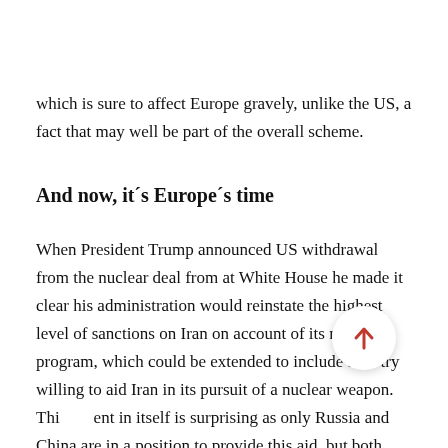which is sure to affect Europe gravely, unlike the US, a fact that may well be part of the overall scheme.
And now, it´s Europe´s time
When President Trump announced US withdrawal from the nuclear deal from at White House he made it clear his administration would reinstate the highest level of sanctions on Iran on account of its nuclear program, which could be extended to include a try willing to aid Iran in its pursuit of a nuclear weapon. Thi ent in itself is surprising as only Russia and China are in a position to provide this aid, but both countries happen to be on the right side of the deal.The greatest flaw in this unilateral decision lies in the